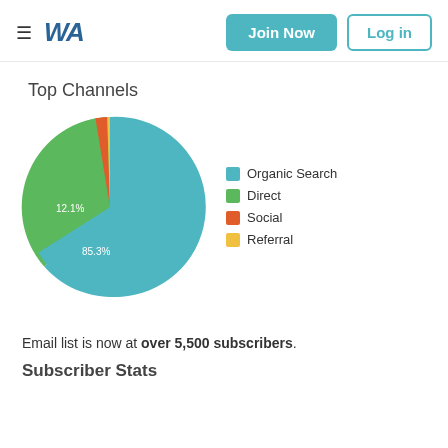≡ WA  Join Now  Log in
Top Channels
[Figure (pie-chart): Top Channels]
Email list is now at over 5,500 subscribers.
Subscriber Stats